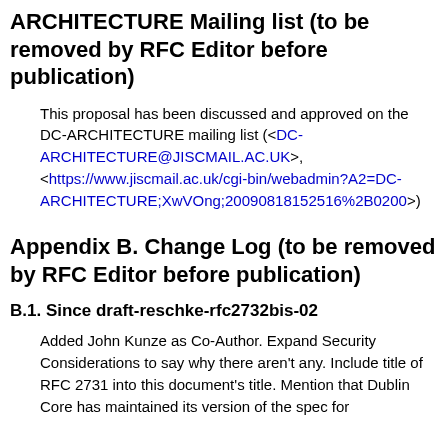ARCHITECTURE Mailing list (to be removed by RFC Editor before publication)
This proposal has been discussed and approved on the DC-ARCHITECTURE mailing list (<DC-ARCHITECTURE@JISCMAIL.AC.UK>, <https://www.jiscmail.ac.uk/cgi-bin/webadmin?A2=DC-ARCHITECTURE;XwVOng;20090818152516%2B0200>).
Appendix B. Change Log (to be removed by RFC Editor before publication)
B.1. Since draft-reschke-rfc2732bis-02
Added John Kunze as Co-Author. Expand Security Considerations to say why there aren't any. Include title of RFC 2731 into this document's title. Mention that Dublin Core has maintained its version of the spec for